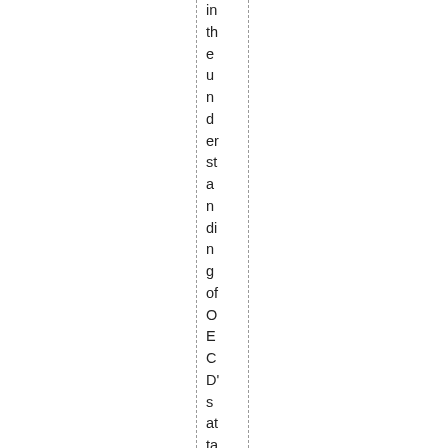in the understanding of OECD's attacks against cou